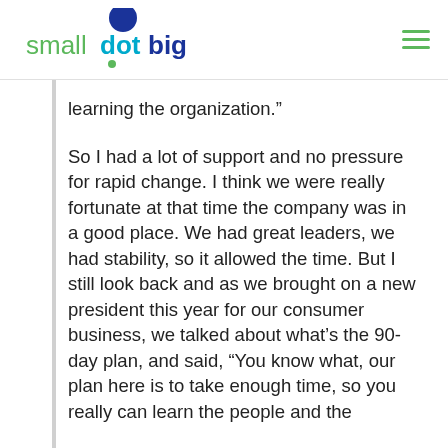smalldotbig
learning the organization.”
So I had a lot of support and no pressure for rapid change. I think we were really fortunate at that time the company was in a good place. We had great leaders, we had stability, so it allowed the time. But I still look back and as we brought on a new president this year for our consumer business, we talked about what’s the 90-day plan, and said, “You know what, our plan here is to take enough time, so you really can learn the people and the